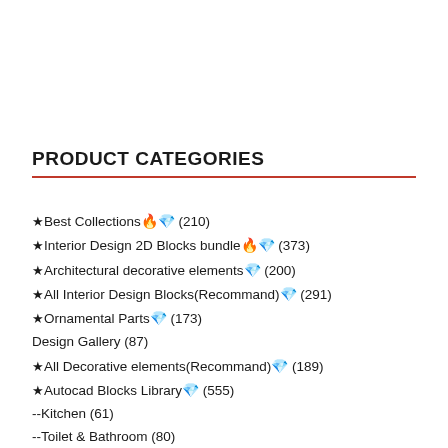PRODUCT CATEGORIES
★Best Collections🔥💎 (210)
★Interior Design 2D Blocks bundle🔥💎 (373)
★Architectural decorative elements💎 (200)
★All Interior Design Blocks(Recommand)💎 (291)
★Ornamental Parts💎 (173)
Design Gallery (87)
★All Decorative elements(Recommand)💎 (189)
★Autocad Blocks Library💎 (555)
--Kitchen (61)
--Toilet & Bathroom (80)
--Furniture (333)